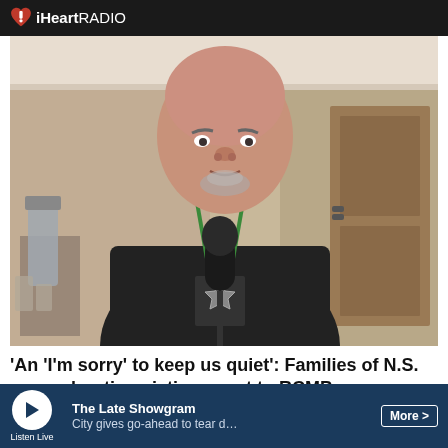iHeartRADIO
[Figure (photo): Middle-aged bald man with goatee wearing a black hoodie with a logo, green lanyard around neck, standing in front of a microphone in a hotel or conference room setting. Wooden doors and a blender visible in the background.]
'An 'I'm sorry' to keep us quiet': Families of N.S. mass shooting victims react to RCMP Commissioner apology
Some family members of victims killed in the 2020 Nova
The Late Showgram
City gives go-ahead to tear d…  More>
Listen Live